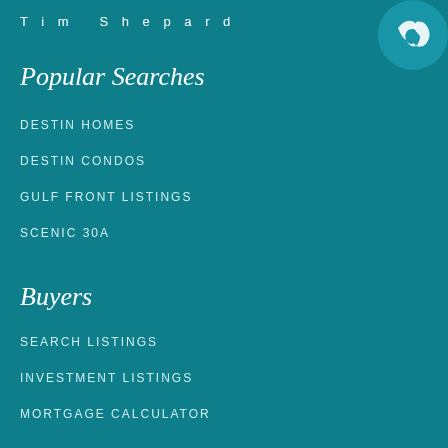Tim Shepard
Popular Searches
DESTIN HOMES
DESTIN CONDOS
GULF FRONT LISTINGS
SCENIC 30A
Buyers
SEARCH LISTINGS
INVESTMENT LISTINGS
MORTGAGE CALCULATOR